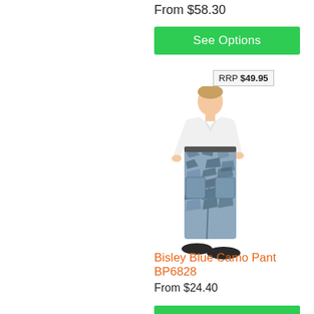From $58.30
See Options
RRP $49.95
[Figure (photo): Man wearing blue camouflage cargo pants and white t-shirt, standing with hands in pockets, viewed from slightly left angle]
Bisley Blue Camo Pant BP6828
From $24.40